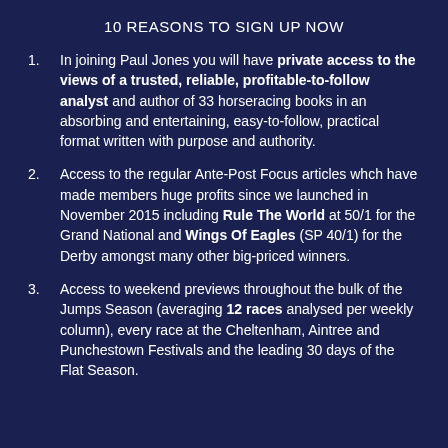10 REASONS TO SIGN UP NOW
1. In joining Paul Jones you will have private access to the views of a trusted, reliable, profitable-to-follow analyst and author of 33 horseracing books in an absorbing and entertaining, easy-to-follow, practical format written with purpose and authority.
2. Access to the regular Ante-Post Focus articles whch have made members huge profits since we launched in November 2015 including Rule The World at 50/1 for the Grand National and Wings Of Eagles (SP 40/1) for the Derby amongst many other big-priced winners.
3. Access to weekend previews throughout the bulk of the Jumps Season (averaging 12 races analysed per weekly column), every race at the Cheltenham, Aintree and Punchestown Festivals and the leading 30 days of the Flat Season.